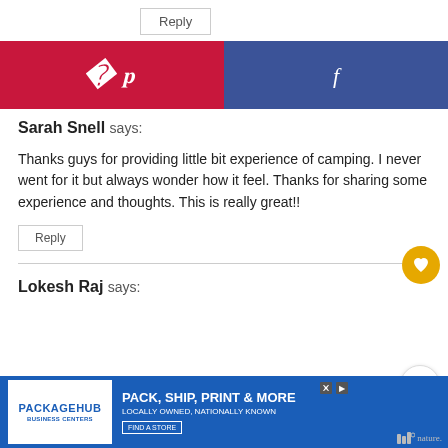Reply
[Figure (infographic): Social sharing bar with Pinterest (red) and Facebook (blue) buttons]
Sarah Snell says:
Thanks guys for providing little bit experience of camping. I never went for it but always wonder how it feel. Thanks for sharing some experience and thoughts. This is really great!!
Reply
Lokesh Raj says:
[Figure (screenshot): PackageHub advertisement banner - PACK, SHIP, PRINT & MORE, LOCALLY OWNED, NATIONALLY KNOWN, FIND A STORE]